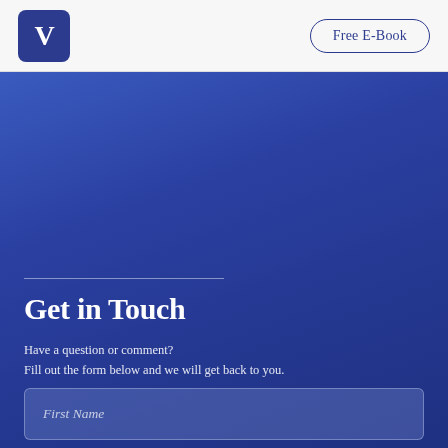V | Free E-Book
Get in Touch
Have a question or comment?
Fill out the form below and we will get back to you.
First Name
Last Name